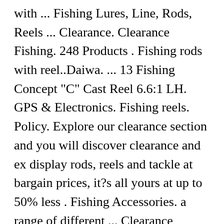with ... Fishing Lures, Line, Rods, Reels ... Clearance. Clearance Fishing. 248 Products . Fishing rods with reel..Daiwa. ... 13 Fishing Concept "C" Cast Reel 6.6:1 LH. GPS & Electronics. Fishing reels. Policy. Explore our clearance section and you will discover clearance and ex display rods, reels and tackle at bargain prices, it?s all yours at up to 50% less . Fishing Accessories. a range of different ... Clearance Casting Reels. For ... We want to ensure that making a return is as easy and hassle-free as possible! Save Big On The Latest Markdowns From Your Favorite Brands. Dr.Fish Saltwater 10000/12000 Spinning Reel for Surf Fishing, 13+1 BBS, 48LB Max Drag, Ultra High